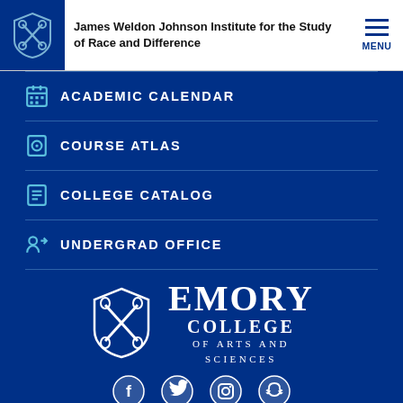James Weldon Johnson Institute for the Study of Race and Difference
ACADEMIC CALENDAR
COURSE ATLAS
COLLEGE CATALOG
UNDERGRAD OFFICE
[Figure (logo): Emory College of Arts and Sciences logo with shield icon and text]